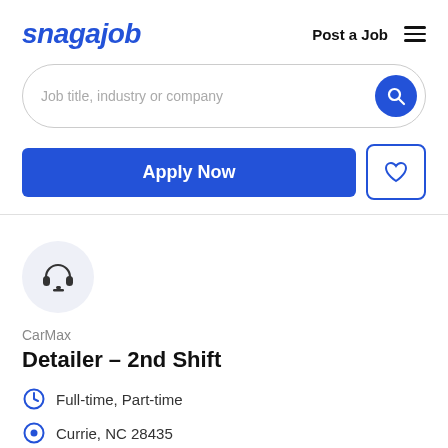snagajob  Post a Job  ≡
Job title, industry or company
Apply Now
[Figure (logo): CarMax company logo — headset icon in a light grey circle]
CarMax
Detailer - 2nd Shift
Full-time, Part-time
Currie, NC 28435